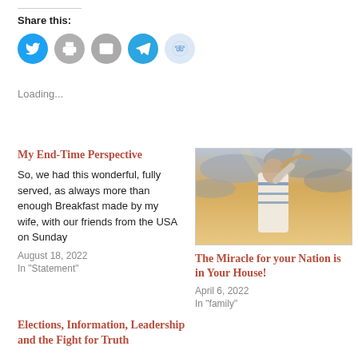Share this:
[Figure (infographic): Row of five social sharing icon circles: Twitter (blue), Print (gray), Email (gray), Telegram (blue), Reddit (light blue)]
Loading...
My End-Time Perspective
So, we had this wonderful, fully served, as always more than enough Breakfast made by my wife, with our friends from the USA on Sunday
August 18, 2022
In "Statement"
[Figure (photo): Person in white prayer shawl blowing a shofar against a dramatic cloudy sky background]
The Miracle for your Nation is in Your House!
April 6, 2022
In "family"
Elections, Information, Leadership and the Fight for Truth